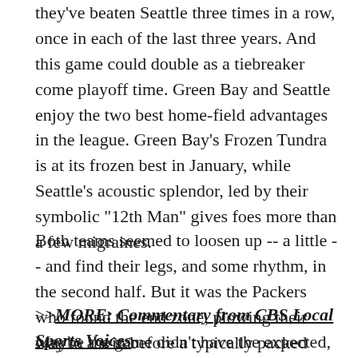they've beaten Seattle three times in a row, once in each of the last three years. And this game could double as a tiebreaker come playoff time. Green Bay and Seattle enjoy the two best home-field advantages in the league. Green Bay's Frozen Tundra is at its frozen best in January, while Seattle's acoustic splendor, led by their symbolic "12th Man" gives foes more than a few migraines.
Both teams seemed to loosen up -- a little -- and find their legs, and some rhythm, in the second half. But it was the Packers who found the end zone, plowing their way to a win before a typically packed stadium.
>>MORE: Commentary from CBS Local Sports Voices
Maybe the game didn't have the expected, volcanic